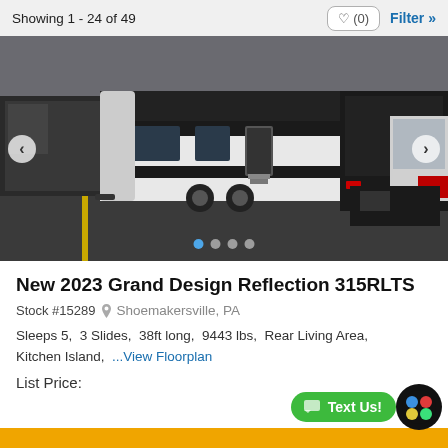Showing 1 - 24 of 49
[Figure (photo): RV dealership lot showing a 2023 Grand Design Reflection trailer parked among other RVs, viewed from an angle showing the side and rear, black and white exterior.]
New 2023 Grand Design Reflection 315RLTS
Stock #15289  Shoemakersville, PA
Sleeps 5,  3 Slides,  38ft long,  9443 lbs,  Rear Living Area, Kitchen Island,  ...View Floorplan
List Price: